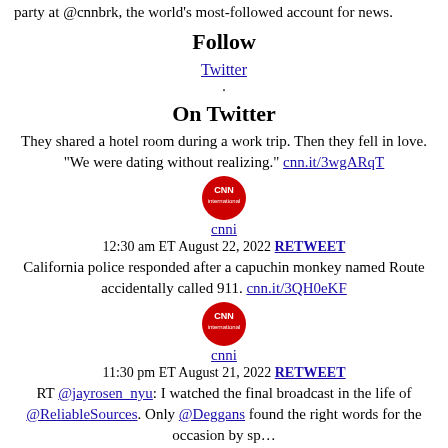party at @cnnbrk, the world's most-followed account for news.
Follow
Twitter
.
On Twitter
They shared a hotel room during a work trip. Then they fell in love. "We were dating without realizing." cnn.it/3wgARqT
[Figure (logo): CNN International red circular logo]
cnni
12:30 am ET August 22, 2022 RETWEET
California police responded after a capuchin monkey named Route accidentally called 911. cnn.it/3QH0eKF
[Figure (logo): CNN International red circular logo]
cnni
11:30 pm ET August 21, 2022 RETWEET
RT @jayrosen_nyu: I watched the final broadcast in the life of @ReliableSources. Only @Deggans found the right words for the occasion by sp…
[Figure (photo): Profile photo of susancandiotti - woman in teal/blue jacket]
susancandiotti